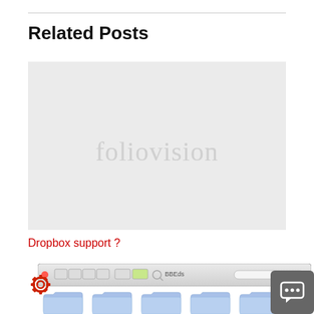Related Posts
[Figure (screenshot): Placeholder image with 'foliovision' watermark text on light gray background]
Dropbox support ?
[Figure (screenshot): Mac OS X Finder window showing toolbar with red close button, view buttons, action button, search field, and folder icons below, with a gear settings icon on the left and a chat bubble icon on the right]